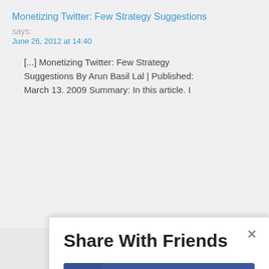Monetizing Twitter: Few Strategy Suggestions
says:
June 26, 2012 at 14:40
[...] Monetizing Twitter: Few Strategy Suggestions By Arun Basil Lal | Published: March 13. 2009 Summary: In this article. I
Share With Friends
Facebook
Twitter
LinkedIn
Gmail